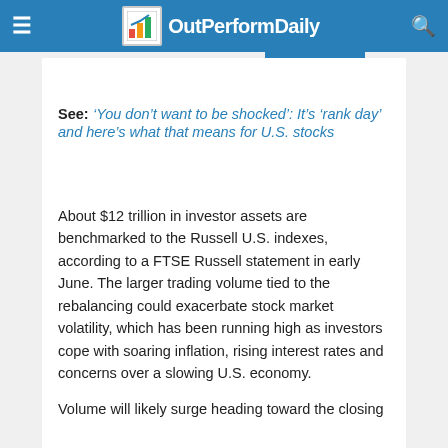OutPerformDaily
See: ‘You don’t want to be shocked’: It’s ‘rank day’ and here’s what that means for U.S. stocks
About $12 trillion in investor assets are benchmarked to the Russell U.S. indexes, according to a FTSE Russell statement in early June. The larger trading volume tied to the rebalancing could exacerbate stock market volatility, which has been running high as investors cope with soaring inflation, rising interest rates and concerns over a slowing U.S. economy.
Volume will likely surge heading toward the closing